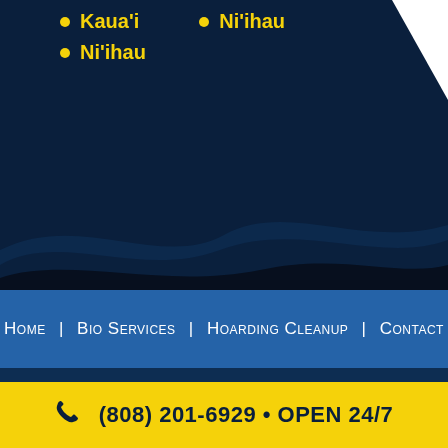Kaua'i
Ni'ihau
Ni'ihau
Home | Bio Services | Hoarding Cleanup | Contact
Bio-X Hawaii • 98-138 Hila Place, Pearl City, HI 96782-3201
Mailing Address: 98-820 Moanalua Rd, Suite I5-707, Aiea, HI 96701 • (808) 201-6929
2017-2022 Bio X Hawaii • All Rights Reserved. •
(808) 201-6929 • OPEN 24/7